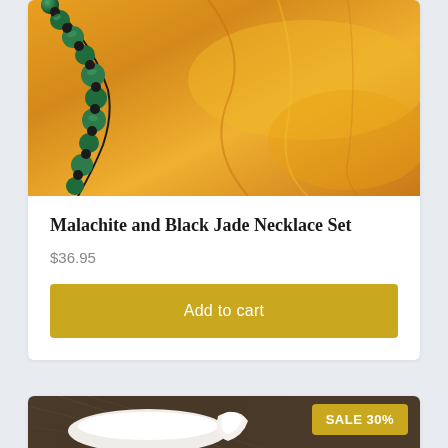[Figure (photo): Close-up photo of a malachite and black jade beaded necklace draped on orange/golden satin fabric]
Malachite and Black Jade Necklace Set
$36.95
Add to cart
[Figure (photo): Partially visible photo of a cream/white ceramic dish or ornament on a dark textured background, with a SALE 30% badge overlay]
SALE 30%